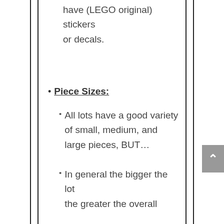have (LEGO original) stickers or decals.
Piece Sizes:
All lots have a good variety of small, medium, and large pieces, BUT…
In general the bigger the lot the greater the overall variety. In addition, larger lots tend to have some of the larger sized pieces that we can't include in the smaller ones.
Piece Types:
WILL Include: